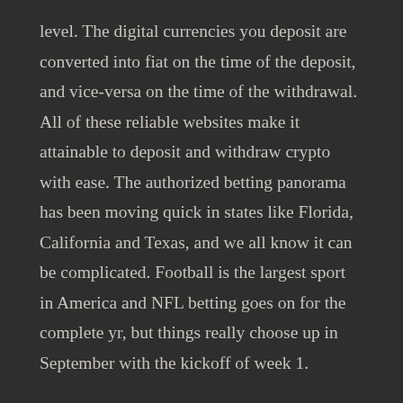level. The digital currencies you deposit are converted into fiat on the time of the deposit, and vice-versa on the time of the withdrawal. All of these reliable websites make it attainable to deposit and withdraw crypto with ease. The authorized betting panorama has been moving quick in states like Florida, California and Texas, and we all know it can be complicated. Football is the largest sport in America and NFL betting goes on for the complete yr, but things really choose up in September with the kickoff of week 1.
Sports that work for one punter will not be suitable for another. As a general rule, you want to concentrate on the sports you concentrate on, i.e. those you are the most competent about. At the tip of the day, it all co    wn to personal preferences but strive your best to keep away from